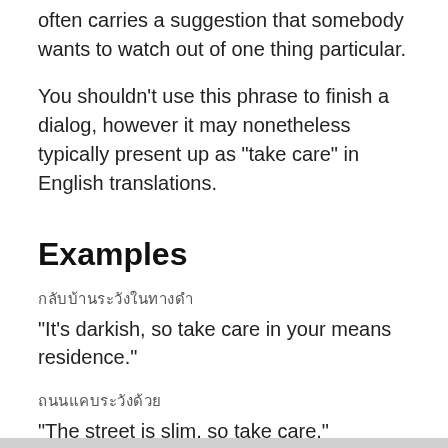often carries a suggestion that somebody wants to watch out of one thing particular.
You shouldn’t use this phrase to finish a dialog, however it may nonetheless typically present up as “take care” in English translations.
Examples
มืดค่ำแล้วระวังในทางกลับบ้าน
“It’s darkish, so take care in your means residence.”
ถนนแคบระวังด้วย
“The street is slim, so take care.”
Clearly, these makes use of of “take care” wouldn’t make sense in any informal dialog. If there’s a selected